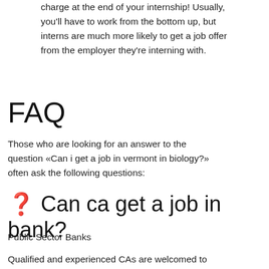charge at the end of your internship! Usually, you'll have to work from the bottom up, but interns are much more likely to get a job offer from the employer they're interning with.
FAQ
Those who are looking for an answer to the question «Can i get a job in vermont in biology?» often ask the following questions:
❓ Can ca get a job in bank?
Public Sector Banks
Qualified and experienced CAs are welcomed to